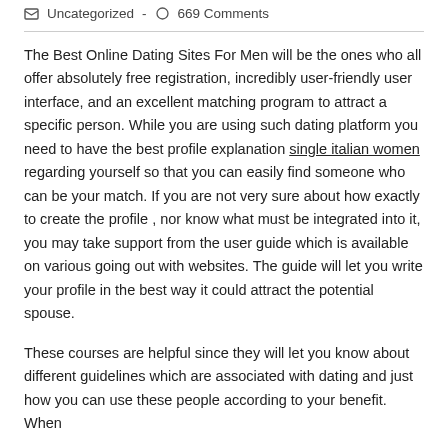Uncategorized - 669 Comments
The Best Online Dating Sites For Men will be the ones who all offer absolutely free registration, incredibly user-friendly user interface, and an excellent matching program to attract a specific person. While you are using such dating platform you need to have the best profile explanation single italian women regarding yourself so that you can easily find someone who can be your match. If you are not very sure about how exactly to create the profile , nor know what must be integrated into it, you may take support from the user guide which is available on various going out with websites. The guide will let you write your profile in the best way it could attract the potential spouse.
These courses are helpful since they will let you know about different guidelines which are associated with dating and just how you can use these people according to your benefit. When